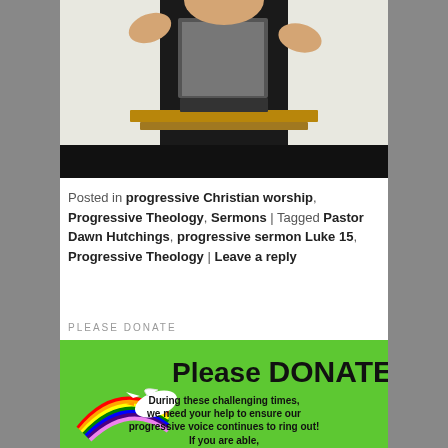[Figure (photo): A person standing at a wooden pulpit/lectern, wearing a dark blazer over a patterned shirt, with hands raised, in a white room. The lower portion of the image is black.]
Posted in progressive Christian worship, Progressive Theology, Sermons | Tagged Pastor Dawn Hutchings, progressive sermon Luke 15, Progressive Theology | Leave a reply
PLEASE DONATE
[Figure (infographic): Green banner reading 'Please DONATE!' with a dove carrying a rainbow, and text: 'During these challenging times, we need your help to ensure our progressive voice continues to ring out! If you are able,']